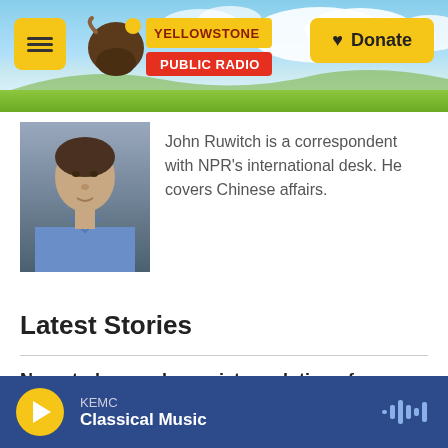[Figure (screenshot): Yellowstone Public Radio website header with logo, hamburger menu, clouds/sky background, and Donate button]
[Figure (photo): Headshot of John Ruwitch, a man in a blue shirt]
John Ruwitch is a correspondent with NPR's international desk. He covers Chinese affairs.
Latest Stories
New study reveals a quiet revolution of repurposed prisons
[Figure (screenshot): Audio player bar at bottom showing KEMC Classical Music with play button and waveform icon]